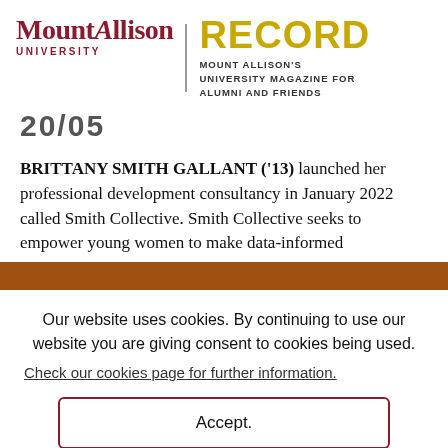MountAllison UNIVERSITY | RECORD MOUNT ALLISON'S UNIVERSITY MAGAZINE FOR ALUMNI AND FRIENDS
20/05
BRITTANY SMITH GALLANT ('13) launched her professional development consultancy in January 2022 called Smith Collective. Smith Collective seeks to empower young women to make data-informed
Our website uses cookies. By continuing to use our website you are giving consent to cookies being used. Check our cookies page for further information.
Accept.